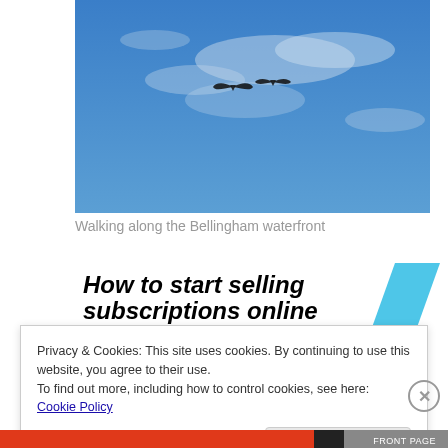[Figure (photo): Two birds (seagulls) flying against a blue sky with wispy clouds, photo taken from below]
Walking along the Bellingham waterfront
[Figure (other): Advertisement banner reading 'How to start selling subscriptions online' with a blue diamond/parallelogram shape on the right]
Privacy & Cookies: This site uses cookies. By continuing to use this website, you agree to their use.
To find out more, including how to control cookies, see here: Cookie Policy
Close and accept